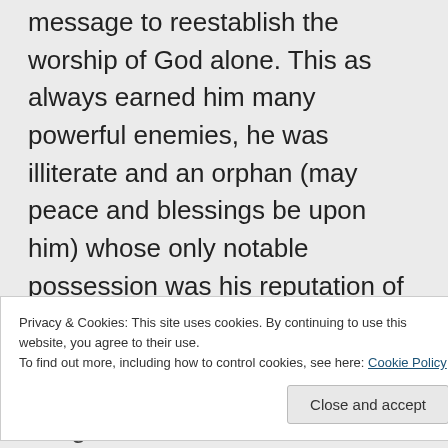message to reestablish the worship of God alone. This as always earned him many powerful enemies, he was illiterate and an orphan (may peace and blessings be upon him) whose only notable possession was his reputation of being Honest and Truthful, nothing else.
Privacy & Cookies: This site uses cookies. By continuing to use this website, you agree to their use. To find out more, including how to control cookies, see here: Cookie Policy
daughters alive, he forbade this.